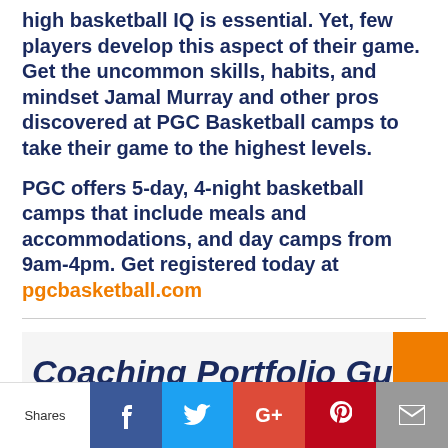high basketball IQ is essential. Yet, few players develop this aspect of their game. Get the uncommon skills, habits, and mindset Jamal Murray and other pros discovered at PGC Basketball camps to take their game to the highest levels.
PGC offers 5-day, 4-night basketball camps that include meals and accommodations, and day camps from 9am-4pm. Get registered today at pgcbasketball.com
[Figure (other): Coaching Portfolio Guide banner image - partial view showing bold italic text on light background with orange accent block]
[Figure (infographic): Social share bar with Shares label, Facebook, Twitter, Google+, Pinterest, and email buttons]